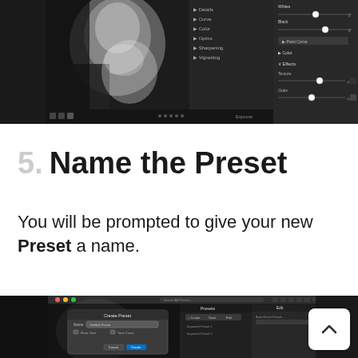[Figure (screenshot): Lightroom Classic interface showing a black and white cat photo being edited, with filmstrip at bottom, adjustment panels on the right with sliders, and toolbar at the bottom of the preview area.]
5.  Name the Preset
You will be prompted to give your new Preset a name.
[Figure (screenshot): Lightroom Classic Create Preset dialog box overlaying the editing interface, showing a text field for entering the preset name, with Presets panel and Edit panel visible in the background.]